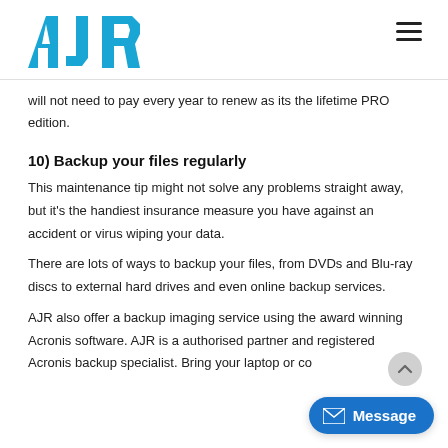AJR logo and navigation
will not need to pay every year to renew as its the lifetime PRO edition.
10) Backup your files regularly
This maintenance tip might not solve any problems straight away, but it's the handiest insurance measure you have against an accident or virus wiping your data.
There are lots of ways to backup your files, from DVDs and Blu-ray discs to external hard drives and even online backup services.
AJR also offer a backup imaging service using the award winning Acronis software. AJR is a authorised partner and registered Acronis backup specialist. Bring your laptop or co...